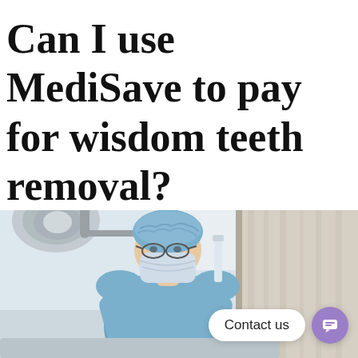Can I use MediSave to pay for wisdom teeth removal?
[Figure (photo): A surgeon wearing blue surgical scrubs, surgical cap, and face mask leaning over an operating table in a clinical setting. Overhead surgical lights visible in the upper left. A 'Contact us' button with a purple chat icon is overlaid on the lower right of the image.]